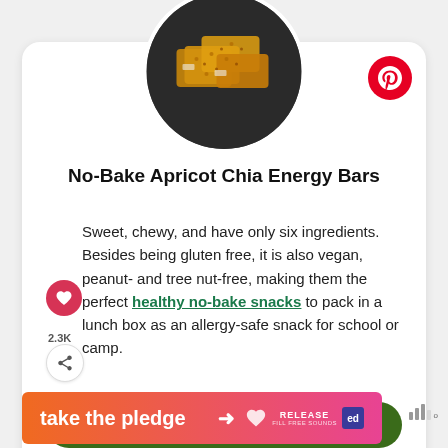[Figure (photo): Circular photo of stacked no-bake apricot chia energy bars on dark background]
No-Bake Apricot Chia Energy Bars
Sweet, chewy, and have only six ingredients. Besides being gluten free, it is also vegan, peanut- and tree nut-free, making them the perfect healthy no-bake snacks to pack in a lunch box as an allergy-safe snack for school or camp.
Continue Reading
WHAT'S NEXT → 50+ Gluten Free Comfor...
[Figure (photo): Can of gluten free comfort food]
take the pledge →
[Figure (logo): RELEASE logo and ad icon]